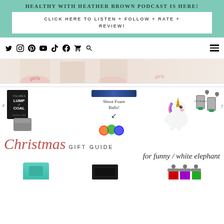HEALTHY WITH HEATHER BROWN PODCAST IS HERE!
CLICK HERE TO LISTEN + FOLLOW + RATE + REVIEW!
[Figure (screenshot): Navigation bar with social media icons: Twitter, Instagram, Pinterest, YouTube, TikTok, Facebook, Cart, Search, and hamburger menu]
[Figure (photo): Hero image showing partial figures of women in light-colored outfits]
[Figure (photo): Christmas gift guide collage showing products: You Are a Lump of Coal book (item 4), grey card holder, unicorn toy shooting foam balls (item 6), hand sanitizer keychains (item 7), with text 'Christmas GIFT GUIDE for funny / white elephant']
Christmas GIFT GUIDE for funny / white elephant